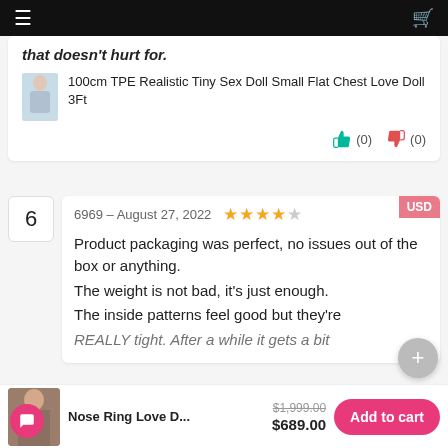Navigation bar with hamburger menu and cart icon
that doesn't hurt for.
100cm TPE Realistic Tiny Sex Doll Small Flat Chest Love Doll 3Ft
(0) (0)
6 — 6969 – August 27, 2022 — 4 stars out of 5 — USD
Product packaging was perfect, no issues out of the box or anything.
The weight is not bad, it's just enough.
The inside patterns feel good but they're REALLY tight. After a while it gets a bit
Nose Ring Love D...
$1,999.00 $689.00
Add to cart